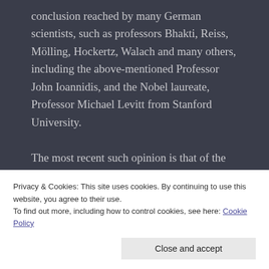conclusion reached by many German scientists, such as professors Bhakti, Reiss, Mölling, Hockertz, Walach and many others, including the above-mentioned Professor John Ioannidis, and the Nobel laureate, Professor Michael Levitt from Stanford University.

The most recent such opinion is that of the aforementioned Dr. Mike Yeadon, a former Vice-President and Chief Science Officer at Pfizer, who held this position for 16 years. He and his co-authors, all well-known scientists, published a scientific paper in
Privacy & Cookies: This site uses cookies. By continuing to use this website, you agree to their use.
To find out more, including how to control cookies, see here: Cookie Policy
Close and accept